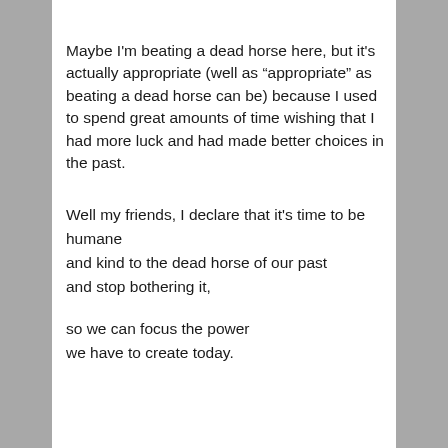Maybe I'm beating a dead horse here, but it's actually appropriate (well as “appropriate” as beating a dead horse can be) because I used to spend great amounts of time wishing that I had more luck and had made better choices in the past.
Well my friends, I declare that it's time to be humane
and kind to the dead horse of our past
and stop bothering it,
so we can focus the power
we have to create today.